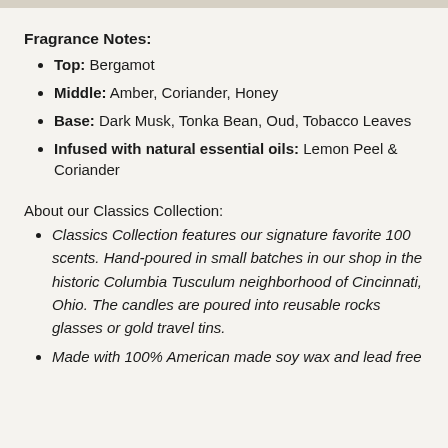Fragrance Notes:
Top: Bergamot
Middle: Amber, Coriander, Honey
Base: Dark Musk, Tonka Bean, Oud, Tobacco Leaves
Infused with natural essential oils: Lemon Peel & Coriander
About our Classics Collection:
Classics Collection features our signature favorite 100 scents. Hand-poured in small batches in our shop in the historic Columbia Tusculum neighborhood of Cincinnati, Ohio. The candles are poured into reusable rocks glasses or gold travel tins.
Made with 100% American made soy wax and lead free